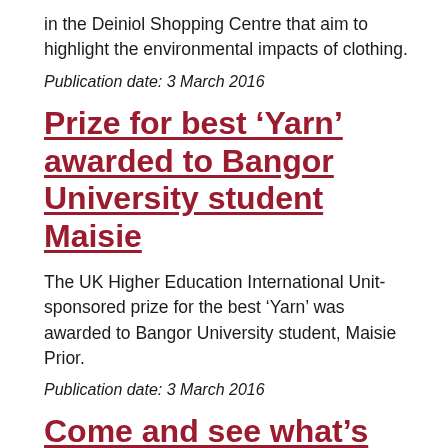in the Deiniol Shopping Centre that aim to highlight the environmental impacts of clothing.
Publication date: 3 March 2016
Prize for best ‘Yarn’ awarded to Bangor University student Maisie
The UK Higher Education International Unit-sponsored prize for the best ‘Yarn’ was awarded to Bangor University student, Maisie Prior.
Publication date: 3 March 2016
Come and see what’s on